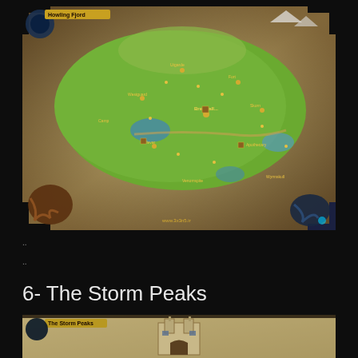[Figure (map): World of Warcraft zone map with parchment/aged texture background showing a green terrain zone with location markers, place names in yellow, and decorative fantasy map elements. Watermark 'www.3x3n5.ir' visible at bottom left.]
..
..
6- The Storm Peaks
[Figure (map): The Storm Peaks zone map from World of Warcraft, partially visible, showing parchment texture with a large castle/fortress structure in the center, label 'The Storm Peaks' in yellow at top left.]